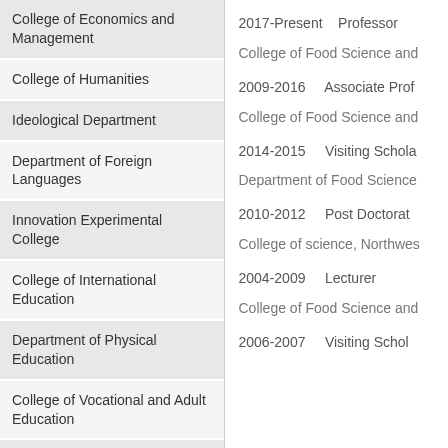College of Economics and Management
College of Humanities
Ideological Department
Department of Foreign Languages
Innovation Experimental College
College of International Education
Department of Physical Education
College of Vocational and Adult Education
2017-Present    Professor
College of Food Science and
2009-2016       Associate Prof
College of Food Science and
2014-2015       Visiting Schola
Department of Food Science
2010-2012       Post Doctorat
College of science, Northwes
2004-2009       Lecturer
College of Food Science and
2006-2007       Visiting Schol